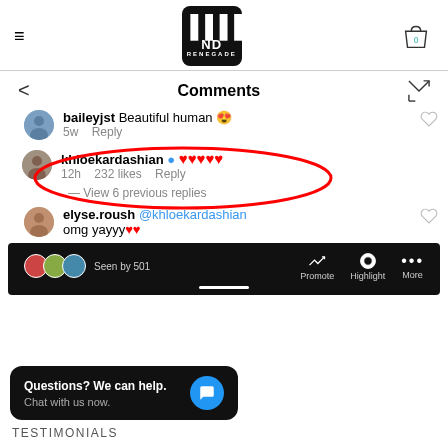[Figure (screenshot): ND Renegade website header with hamburger menu, logo, and shopping bag icon]
Comments
baileyjst Beautiful human 😍
5w  Reply
khloekardashian ♥♥♥♥♥ (highlighted with red oval)
12h  232 likes  Reply
— View 6 previous replies
elyse.roush @khloekardashian omg yayyy♥♥
[Figure (screenshot): Instagram story bottom bar showing Seen by 501, Promote, Highlight, More options]
Questions? We can help.
Chat with us now.
TESTIMONIALS